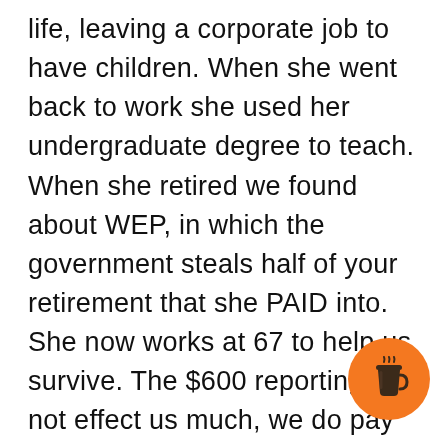life, leaving a corporate job to have children. When she went back to work she used her undergraduate degree to teach. When she retired we found about WEP, in which the government steals half of your retirement that she PAID into. She now works at 67 to help us survive. The $600 reporting will not effect us much, we do pay an elderly person to watch her 90 year old mother 1 day a week. If she needs to get paid more because of the tax implications, I guess Grandma have no one to keep her company the
[Figure (illustration): Orange circular button with a coffee cup icon (Buy Me a Coffee style button)]